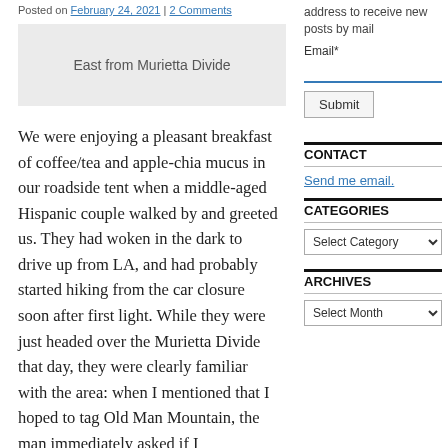Posted on February 24, 2021 | 2 Comments
[Figure (photo): Image placeholder with caption: East from Murietta Divide]
East from Murietta Divide
We were enjoying a pleasant breakfast of coffee/tea and apple-chia mucus in our roadside tent when a middle-aged Hispanic couple walked by and greeted us. They had woken in the dark to drive up from LA, and had probably started hiking from the car closure soon after first light. While they were just headed over the Murietta Divide that day, they were clearly familiar with the area: when I mentioned that I hoped to tag Old Man Mountain, the man immediately asked if I ...
address to receive new posts by mail
Email*
Submit
CONTACT
Send me email.
CATEGORIES
Select Category
ARCHIVES
Select Month